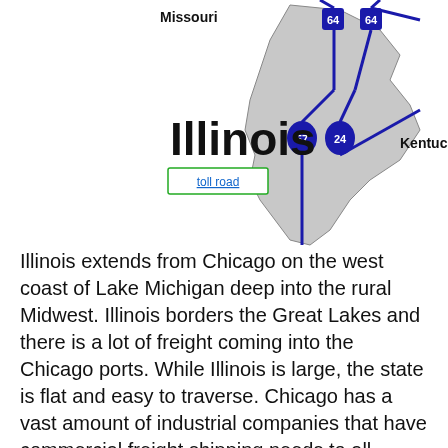[Figure (map): Map of Illinois showing state outline in gray with major interstate highways (I-64, I-57, I-24) marked. Neighboring states Missouri and Kentucky labeled. Bold 'Illinois' label on map. A green-bordered box labeled 'toll road' shown below the state name.]
Illinois extends from Chicago on the west coast of Lake Michigan deep into the rural Midwest. Illinois borders the Great Lakes and there is a lot of freight coming into the Chicago ports. While Illinois is large, the state is flat and easy to traverse. Chicago has a vast amount of industrial companies that have commercial freight shipping needs to all points of the country and into Canada as well. Illinois has cold, snowy winters that can slow down and delay trucking through the state.